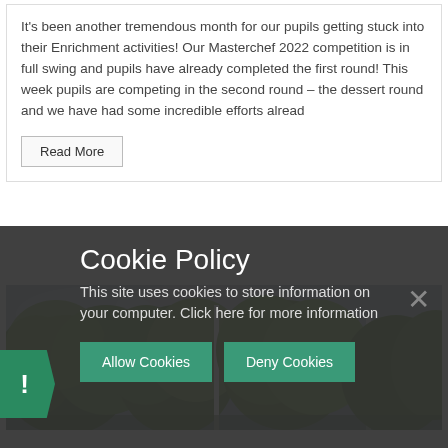It's been another tremendous month for our pupils getting stuck into their Enrichment activities! Our Masterchef 2022 competition is in full swing and pupils have already completed the first round! This week pupils are competing in the second round – the dessert round and we have had some incredible efforts alread
Read More
[Figure (photo): Photograph of trees with green foliage against a grey sky, with white vertical poles or posts visible]
Cookie Policy
This site uses cookies to store information on your computer. Click here for more information
Allow Cookies
Deny Cookies